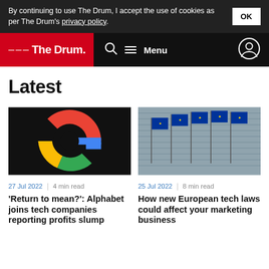By continuing to use The Drum, I accept the use of cookies as per The Drum's privacy policy. OK
The Drum — Menu
Latest
[Figure (photo): Colorful Google logo graphic on black background]
27 Jul 2022 | 4 min read
'Return to mean?': Alphabet joins tech companies reporting profits slump
[Figure (photo): EU flags on flagpoles in front of a building]
25 Jul 2022 | 8 min read
How new European tech laws could affect your marketing business